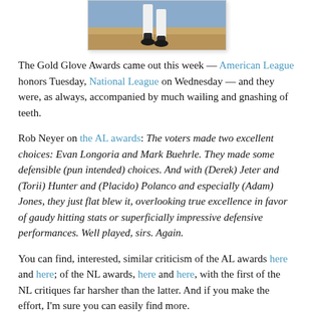[Figure (photo): Cropped photo of a baseball player's lower body/legs on a baseball field, wearing white uniform and dark cleats]
The Gold Glove Awards came out this week — American League honors Tuesday, National League on Wednesday — and they were, as always, accompanied by much wailing and gnashing of teeth.
Rob Neyer on the AL awards: The voters made two excellent choices: Evan Longoria and Mark Buehrle. They made some defensible (pun intended) choices. And with (Derek) Jeter and (Torii) Hunter and (Placido) Polanco and especially (Adam) Jones, they just flat blew it, overlooking true excellence in favor of gaudy hitting stats or superficially impressive defensive performances. Well played, sirs. Again.
You can find, interested, similar criticism of the AL awards here and here; of the NL awards, here and here, with the first of the NL critiques far harsher than the latter. And if you make the effort, I'm sure you can easily find more.
Now ... The Gold Glove voting system is flawed. Badly flawed.